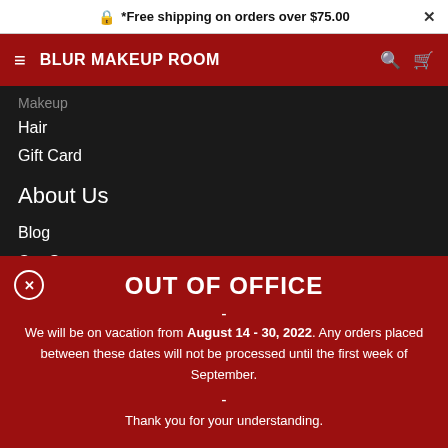* Free shipping on orders over $75.00
BLUR MAKEUP ROOM
Makeup
Hair
Gift Card
About Us
Blog
Our Story
Contact Us
OUT OF OFFICE
We will be on vacation from August 14 - 30, 2022. Any orders placed between these dates will not be processed until the first week of September.
Thank you for your understanding.